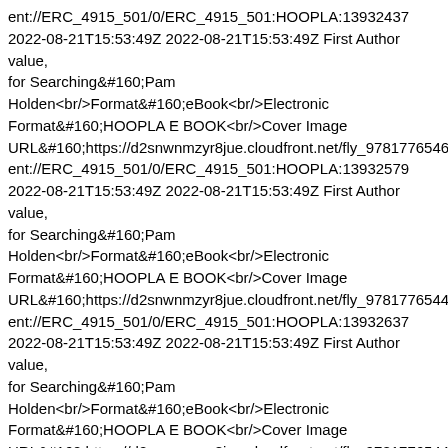ent://ERC_4915_501/0/ERC_4915_501:HOOPLA:13932437 2022-08-21T15:53:49Z 2022-08-21T15:53:49Z First Author value, for Searching&#160;Pam Holden<br/>Format&#160;eBook<br/>Electronic Format&#160;HOOPLA E BOOK<br/>Cover Image URL&#160;https://d2snwnmzyr8jue.cloudfront.net/fly_9781776546 ent://ERC_4915_501/0/ERC_4915_501:HOOPLA:13932579 2022-08-21T15:53:49Z 2022-08-21T15:53:49Z First Author value, for Searching&#160;Pam Holden<br/>Format&#160;eBook<br/>Electronic Format&#160;HOOPLA E BOOK<br/>Cover Image URL&#160;https://d2snwnmzyr8jue.cloudfront.net/fly_9781776544 ent://ERC_4915_501/0/ERC_4915_501:HOOPLA:13932637 2022-08-21T15:53:49Z 2022-08-21T15:53:49Z First Author value, for Searching&#160;Pam Holden<br/>Format&#160;eBook<br/>Electronic Format&#160;HOOPLA E BOOK<br/>Cover Image URL&#160;https://d2snwnmzyr8jue.cloudfront.net/fly_9781776544 ent://ERC_4915_501/0/ERC_4915_501:HOOPLA:13642022 2022-08-21T15:53:49Z 2022-08-21T15:53:49Z First Author value, for Searching&#160;Pam Holden<br/>Format&#160;eBook<br/>Electronic Format&#160;HOOPLA E BOOK<br/>Cover Image URL&#160;https://d2snwnmzyr8jue.cloudfront.net/fly_9781776850 ent://ERC_4915_501/0/ERC_4915_501:HOOPLA:13642032